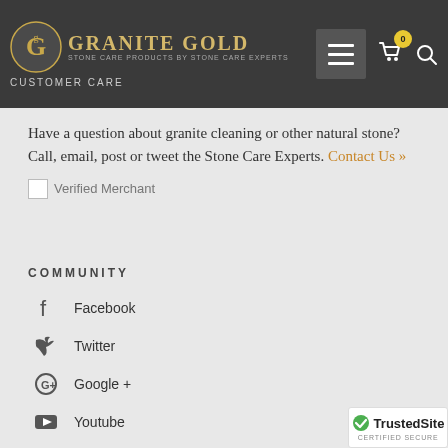Granite Gold — Stone Care Products By Stone Care Experts | CUSTOMER CARE
CUSTOMER CARE
Have a question about granite cleaning or other natural stone? Call, email, post or tweet the Stone Care Experts. Contact Us »
[Figure (other): Verified Merchant badge placeholder image]
COMMUNITY
Facebook
Twitter
Google +
Youtube
[Figure (other): TrustedSite Certified Secure badge]